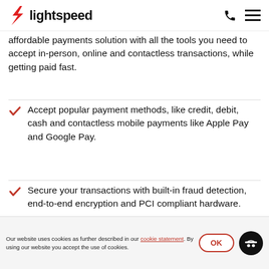lightspeed
affordable payments solution with all the tools you need to accept in-person, online and contactless transactions, while getting paid fast.
Accept popular payment methods, like credit, debit, cash and contactless mobile payments like Apple Pay and Google Pay.
Secure your transactions with built-in fraud detection, end-to-end encryption and PCI compliant hardware.
Our website uses cookies as further described in our cookie statement. By using our website you accept the use of cookies.